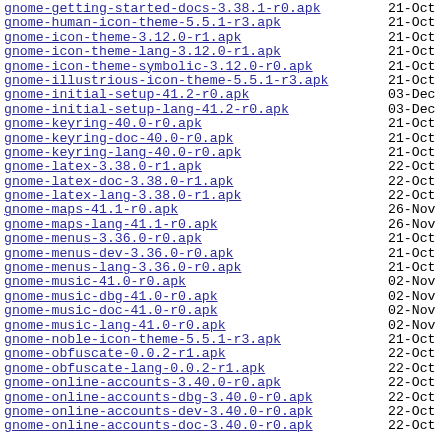gnome-getting-started-docs-3.38.1-r0.apk  21-Oct
gnome-human-icon-theme-5.5.1-r3.apk  21-Oct
gnome-icon-theme-3.12.0-r1.apk  21-Oct
gnome-icon-theme-lang-3.12.0-r1.apk  21-Oct
gnome-icon-theme-symbolic-3.12.0-r0.apk  21-Oct
gnome-illustrious-icon-theme-5.5.1-r3.apk  21-Oct
gnome-initial-setup-41.2-r0.apk  03-Dec
gnome-initial-setup-lang-41.2-r0.apk  03-Dec
gnome-keyring-40.0-r0.apk  21-Oct
gnome-keyring-doc-40.0-r0.apk  21-Oct
gnome-keyring-lang-40.0-r0.apk  21-Oct
gnome-latex-3.38.0-r1.apk  22-Oct
gnome-latex-doc-3.38.0-r1.apk  22-Oct
gnome-latex-lang-3.38.0-r1.apk  22-Oct
gnome-maps-41.1-r0.apk  26-Nov
gnome-maps-lang-41.1-r0.apk  26-Nov
gnome-menus-3.36.0-r0.apk  21-Oct
gnome-menus-dev-3.36.0-r0.apk  21-Oct
gnome-menus-lang-3.36.0-r0.apk  21-Oct
gnome-music-41.0-r0.apk  02-Nov
gnome-music-dbg-41.0-r0.apk  02-Nov
gnome-music-doc-41.0-r0.apk  02-Nov
gnome-music-lang-41.0-r0.apk  02-Nov
gnome-noble-icon-theme-5.5.1-r3.apk  21-Oct
gnome-obfuscate-0.0.2-r1.apk  22-Oct
gnome-obfuscate-lang-0.0.2-r1.apk  22-Oct
gnome-online-accounts-3.40.0-r0.apk  22-Oct
gnome-online-accounts-dbg-3.40.0-r0.apk  22-Oct
gnome-online-accounts-dev-3.40.0-r0.apk  22-Oct
gnome-online-accounts-doc-3.40.0-r0.apk  22-Oct